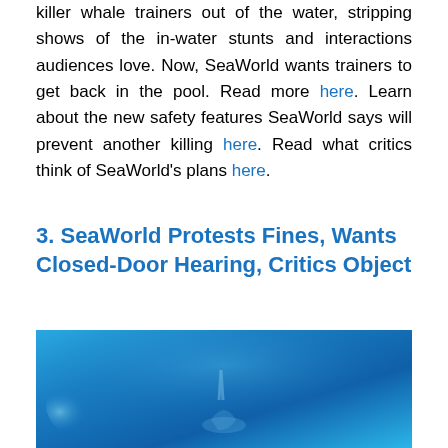killer whale trainers out of the water, stripping shows of the in-water stunts and interactions audiences love. Now, SeaWorld wants trainers to get back in the pool. Read more here. Learn about the new safety features SeaWorld says will prevent another killing here. Read what critics think of SeaWorld's plans here.
3. SeaWorld Protests Fines, Wants Closed-Door Hearing, Critics Object
[Figure (photo): Underwater blue photograph, likely showing a whale or marine animal submerged in bright blue water]